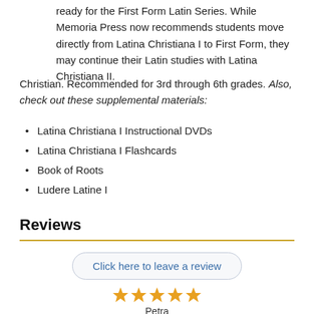ready for the First Form Latin Series. While Memoria Press now recommends students move directly from Latina Christiana I to First Form, they may continue their Latin studies with Latina Christiana II.
Christian. Recommended for 3rd through 6th grades. Also, check out these supplemental materials:
Latina Christiana I Instructional DVDs
Latina Christiana I Flashcards
Book of Roots
Ludere Latine I
Reviews
Click here to leave a review
[Figure (other): Five gold star rating icons]
Petra
04/30/2021